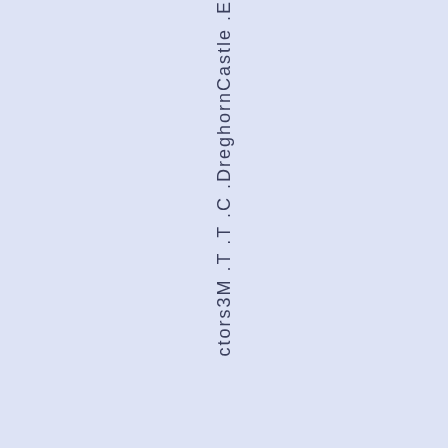ctors3M .T .T .C .DreghornCastle .E